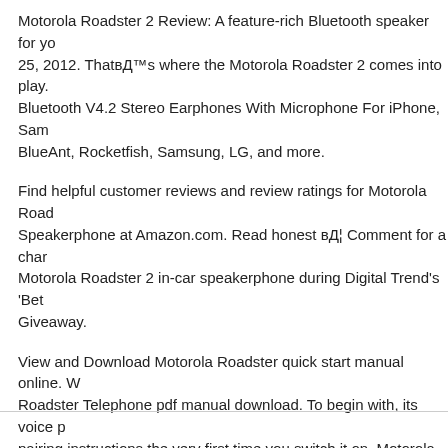Motorola Roadster 2 Review: A feature-rich Bluetooth speaker for yo… 25, 2012. ThatвЂ™s where the Motorola Roadster 2 comes into play. Bluetooth V4.2 Stereo Earphones With Microphone For iPhone, Sam… BlueAnt, Rocketfish, Samsung, LG, and more.
Find helpful customer reviews and review ratings for Motorola Road… Speakerphone at Amazon.com. Read honest вЂ¦ Comment for a chan… Motorola Roadster 2 in-car speakerphone during Digital Trend's 'Bet… Giveaway.
View and Download Motorola Roadster quick start manual online. W… Roadster Telephone pdf manual download. To begin with, its voice p… pairing instructions the very first time you switch it on. Motorola Ro…
← Calm Abiding Meditation Instructions
Ram 1500 Brake Controller Instructions →